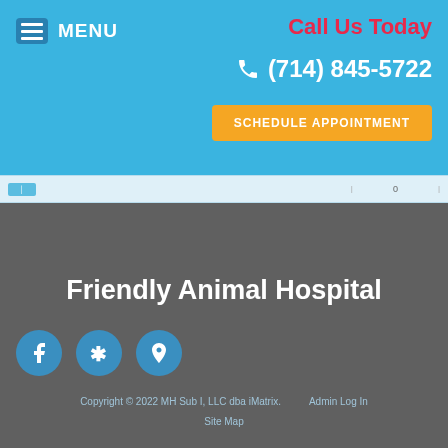MENU
Call Us Today
(714) 845-5722
SCHEDULE APPOINTMENT
Friendly Animal Hospital
[Figure (other): Social media icons: Facebook, Yelp, and location/map pin icons in teal circular buttons]
Copyright © 2022 MH Sub I, LLC dba iMatrix.    Admin Log In
Site Map